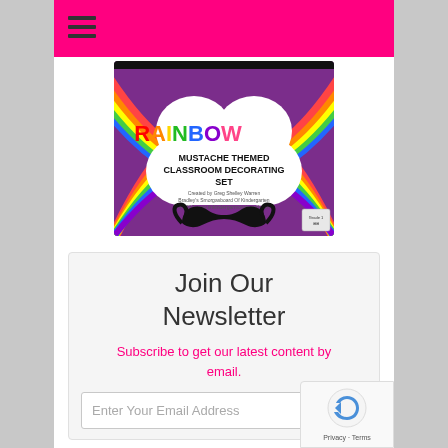Navigation menu bar with hamburger icon
[Figure (illustration): Rainbow Mustache Themed Classroom Decorating Set product image with colorful rainbow border, cloud-shaped white center with text 'RAINBOW MUSTACHE THEMED CLASSROOM DECORATING SET' and a large black mustache graphic]
Join Our Newsletter
Subscribe to get our latest content by email.
Enter Your Email Address